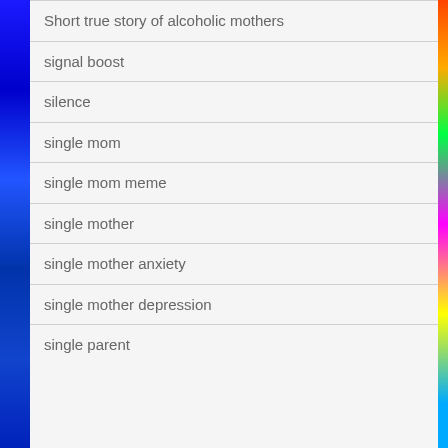Short true story of alcoholic mothers
signal boost
silence
single mom
single mom meme
single mother
single mother anxiety
single mother depression
single parent